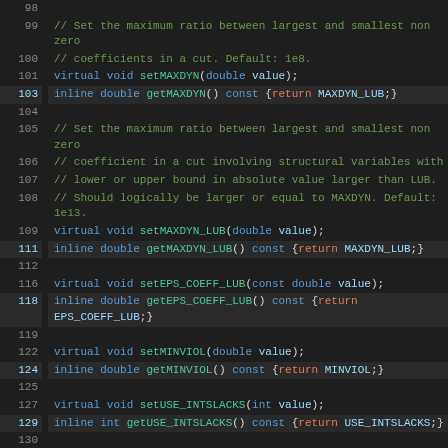[Figure (screenshot): Source code listing in a dark-themed IDE showing C++ class method declarations for setMAXDYN, getMAXDYN, setMAXDYN_LUB, getMAXDYN_LUB, setEPS_COEFF_LUB, getEPS_COEFF_LUB, setMINVIOL, getMINVIOL, setUSE_INTSLACKS, getUSE_INTSLACKS, setUSE_CG2 with line numbers 98-132.]